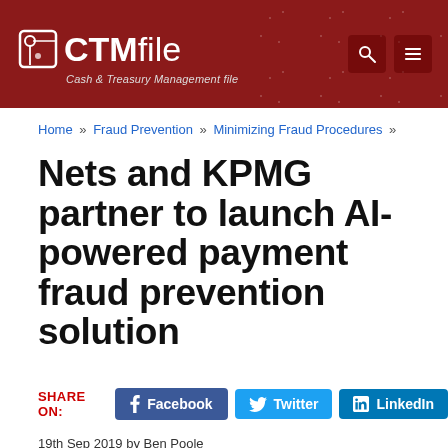[Figure (logo): CTMfile logo — Cash & Treasury Management file — white text on dark red header background with network pattern]
Home » Fraud Prevention » Minimizing Fraud Procedures »
Nets and KPMG partner to launch AI-powered payment fraud prevention solution
SHARE ON: Facebook  Twitter  LinkedIn
19th Sep 2019 by Ben Poole